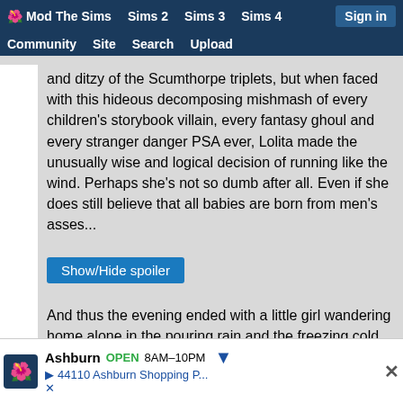🌺 Mod The Sims   Sims 2   Sims 3   Sims 4   Sign in   Community   Site   Search   Upload
and ditzy of the Scumthorpe triplets, but when faced with this hideous decomposing mishmash of every children's storybook villain, every fantasy ghoul and every stranger danger PSA ever, Lolita made the unusually wise and logical decision of running like the wind. Perhaps she's not so dumb after all. Even if she does still believe that all babies are born from men's asses...
Show/Hide spoiler
And thus the evening ended with a little girl wandering home alone in the pouring rain and the freezing cold, slamming the back door after her and fuming about how much her family sucks. For none of the adult members of the family had noticed her absence, or cared even one iota about her encounter with the deathless horror that sleeps beneath the
[Figure (screenshot): Advertisement bar: Ashburn OPEN 8AM-10PM, 44110 Ashburn Shopping P...]